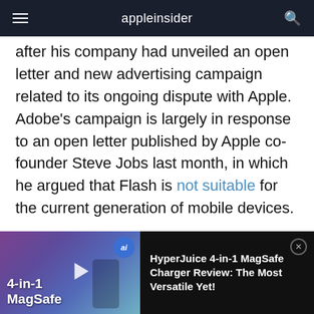appleinsider
after his company had unveiled an open letter and new advertising campaign related to its ongoing dispute with Apple. Adobe's campaign is largely in response to an open letter published by Apple co-founder Steve Jobs last month, in which he argued that Flash is not suitable for the current generation of mobile devices.

Paszckowski asked Geschke about one line in particular from Jobs' letter: "Apple went through
[Figure (screenshot): Advertisement banner for HyperJuice 4-in-1 MagSafe Charger Review with product image and text overlay reading '4-in-1 MagSafe'. AppleInsider logo circle with 'ai' text. Close button with X. Title: HyperJuice 4-in-1 MagSafe Charger Review: The Most Versatile Yet!]